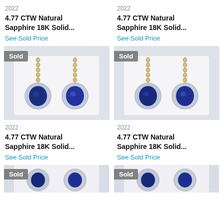2022
4.77 CTW Natural Sapphire 18K Solid...
See Sold Price
2022
4.77 CTW Natural Sapphire 18K Solid...
See Sold Price
[Figure (photo): Sapphire and diamond drop earrings on white display, gold chain, blue oval sapphires with halo, Sold badge]
[Figure (photo): Sapphire and diamond drop earrings on white display, gold chain, blue oval sapphires with halo, Sold badge]
2022
4.77 CTW Natural Sapphire 18K Solid...
See Sold Price
2022
4.77 CTW Natural Sapphire 18K Solid...
See Sold Price
[Figure (photo): Sapphire and diamond drop earrings, partial view, Sold badge]
[Figure (photo): Sapphire and diamond drop earrings, partial view, Sold badge]